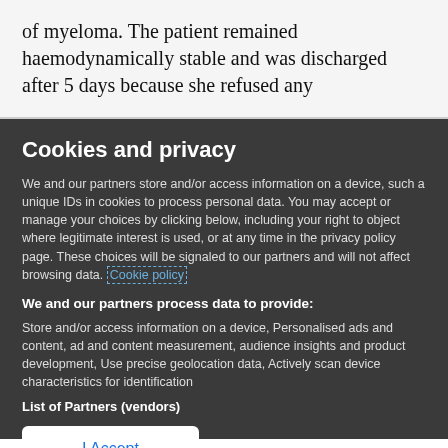of myeloma. The patient remained haemodynamically stable and was discharged after 5 days because she refused any
Cookies and privacy
We and our partners store and/or access information on a device, such a unique IDs in cookies to process personal data. You may accept or manage your choices by clicking below, including your right to object where legitimate interest is used, or at any time in the privacy policy page. These choices will be signaled to our partners and will not affect browsing data. Cookie policy
We and our partners process data to provide:
Store and/or access information on a device, Personalised ads and content, ad and content measurement, audience insights and product development, Use precise geolocation data, Actively scan device characteristics for identification
List of Partners (vendors)
I Accept